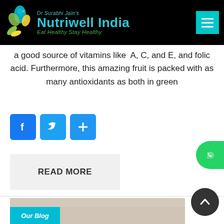[Figure (logo): Dr Surabhi Jain's Nutriwell India logo with tagline 'Eat Healthy Stay Healthy' on black header bar with teal menu button]
a good source of vitamins like A, C, and E, and folic acid. Furthermore, this amazing fruit is packed with as many antioxidants as both in green
[Figure (infographic): Three social share buttons: Facebook (blue), Twitter (light blue), and a plus/add button (blue)]
READ MORE
[Figure (other): Green WhatsApp floating button on right edge]
[Figure (other): Dark circular back-to-top arrow button on lower right]
[Figure (photo): Partial blog section image at bottom with Our Blog teal label overlay]